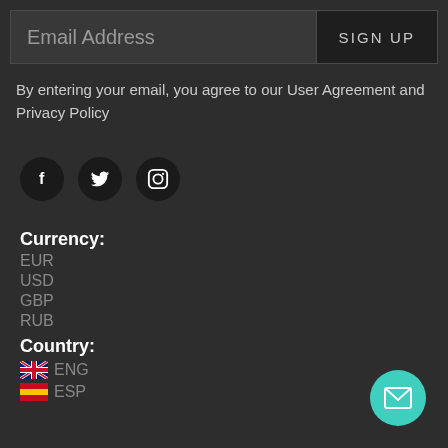[Figure (screenshot): Email address input bar with placeholder text 'Email Address' and a dark 'SIGN UP' button on the right]
By entering your email, you agree to our User Agreement and Privacy Policy
[Figure (infographic): Social media icons: Facebook (f), Twitter (bird), Instagram (camera) in dark circles]
Currency:
EUR
USD
GBP
RUB
Country:
ENG
ESP
[Figure (infographic): Teal circular FAB button with envelope/mail icon in the bottom right corner]